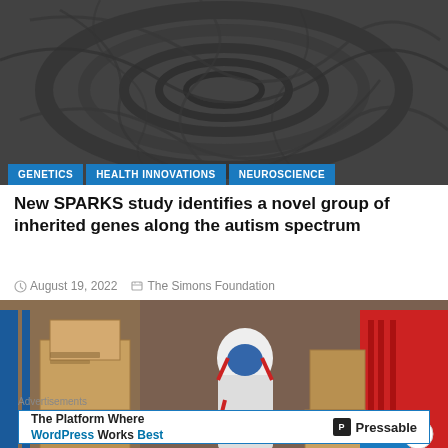[Figure (photo): Black and white abstract fractal/spiral pattern resembling neural or biological structures]
GENETICS   HEALTH INNOVATIONS   NEUROSCIENCE
New SPARKS study identifies a novel group of inherited genes along the autism spectrum
August 19, 2022   The Simons Foundation
[Figure (photo): Worker in white hazmat suit and blue respirator mask among stacked cardboard boxes in a warehouse]
Advertisements
The Platform Where WordPress Works Best   Pressable